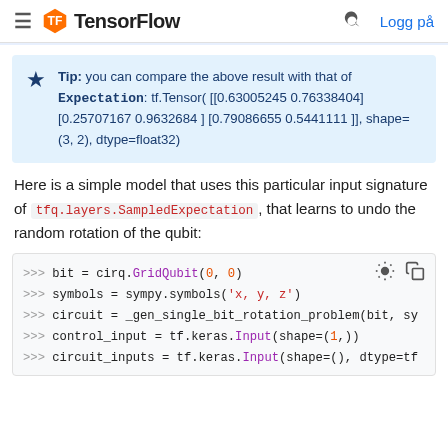≡ TensorFlow  🔍 Logg på
Tip: you can compare the above result with that of Expectation: tf.Tensor( [[0.63005245 0.76338404] [0.25707167 0.9632684 ] [0.79086655 0.5441111 ]], shape=(3, 2), dtype=float32)
Here is a simple model that uses this particular input signature of tfq.layers.SampledExpectation, that learns to undo the random rotation of the qubit:
[Figure (screenshot): Code block showing Python TensorFlow Quantum code: bit = cirq.GridQubit(0, 0), symbols = sympy.symbols('x, y, z'), circuit = _gen_single_bit_rotation_problem(bit, sy..., control_input = tf.keras.Input(shape=(1,)), circuit_inputs = tf.keras.Input(shape=(), dtype=tf...)]